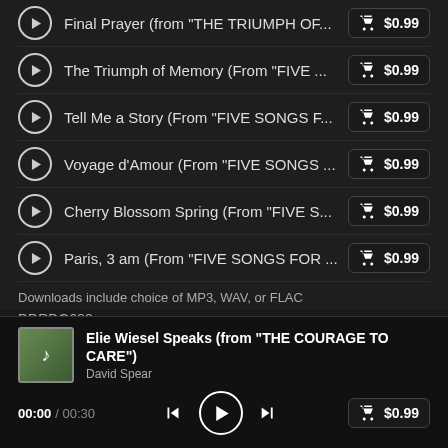Final Prayer (from "THE TRIUMPH OF... $0.99
The Triumph of Memory (From "FIVE ... $0.99
Tell Me a Story (From "FIVE SONGS F... $0.99
Voyage d'Amour (From "FIVE SONGS ... $0.99
Cherry Blossom Spring (From "FIVE S... $0.99
Paris, 3 am (From "FIVE SONGS FOR ... $0.99
Downloads include choice of MP3, WAV, or FLAC
DDRDG688
Elie Wiesel Speaks (from "THE COURAGE TO CARE") David Spear
00:00 / 00:30  $0.99